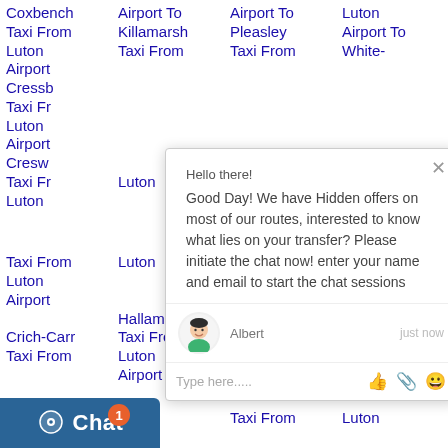Coxbench Taxi From Luton Airport Cressbrook Taxi From Luton Airport Creswell Taxi From Luton Airport To Taxi From Luton Airport To Killamarsh Taxi From Luton Airport To Pleasley Taxi From Luton Airport To Porterhouse Luton Airport To Potter-Somersal Taxi From Luton Airport To Hallam Taxi From Luton Airport To Whitfield-Park Taxi From Luton Airport To gh- gh Crich-Carr Taxi From Luton Airport To
[Figure (screenshot): Live chat popup overlay with message: Hello there! Good Day! We have Hidden offers on most of our routes, interested to know what lies on your transfer? Please initiate the chat now! enter your name and email to start the chat sessions. Agent: Albert, just now. Input field: Type here..... with like, attachment, emoji icons.]
Chat button with badge showing 1 notification